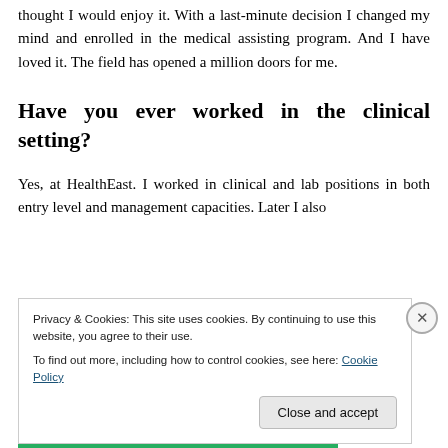thought I would enjoy it. With a last-minute decision I changed my mind and enrolled in the medical assisting program. And I have loved it. The field has opened a million doors for me.
Have you ever worked in the clinical setting?
Yes, at HealthEast. I worked in clinical and lab positions in both entry level and management capacities. Later I also
Privacy & Cookies: This site uses cookies. By continuing to use this website, you agree to their use.
To find out more, including how to control cookies, see here: Cookie Policy
Close and accept